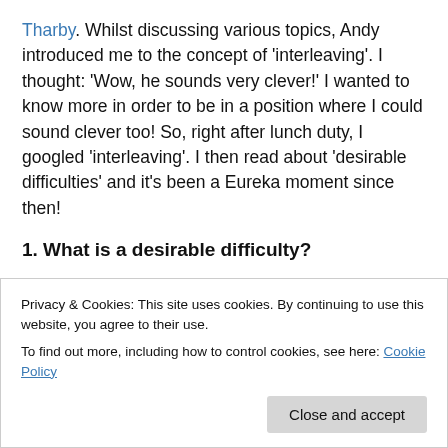Tharby. Whilst discussing various topics, Andy introduced me to the concept of 'interleaving'. I thought: 'Wow, he sounds very clever!'  I wanted to know more in order to be in a position where I could sound clever too! So, right after lunch duty, I googled 'interleaving'. I then read about 'desirable difficulties' and it's been a Eureka moment since then!
1. What is a desirable difficulty?
(a) A situation which makes something harder to learn
Privacy & Cookies: This site uses cookies. By continuing to use this website, you agree to their use.
To find out more, including how to control cookies, see here: Cookie Policy